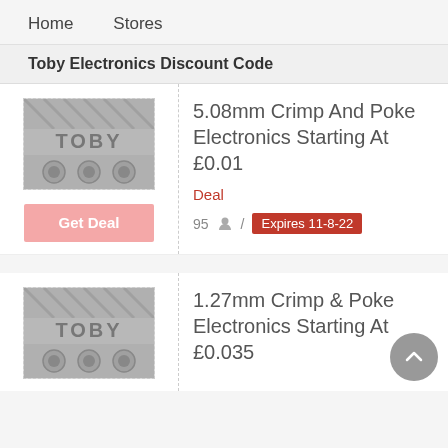Home   Stores
Toby Electronics Discount Code
[Figure (logo): Toby Electronics logo - grey background with TOBY text and electronic connectors]
5.08mm Crimp And Poke Electronics Starting At £0.01
Deal
95 / Expires 11-8-22
[Figure (logo): Toby Electronics logo - grey background with TOBY text and electronic connectors]
1.27mm Crimp & Poke Electronics Starting At £0.035